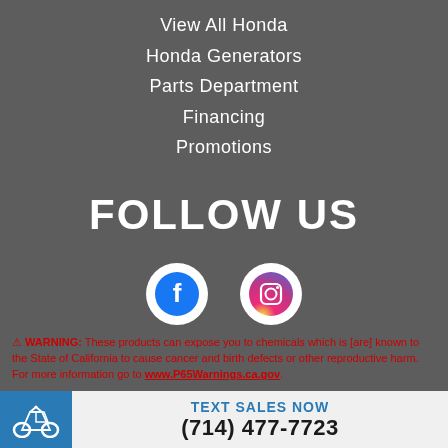View All Honda
Honda Generators
Parts Department
Financing
Promotions
FOLLOW US
[Figure (logo): Facebook and Instagram social media icon circles]
⚠ WARNING: These products can expose you to chemicals which is [are] known to the State of California to cause cancer and birth defects or other reproductive harm. For more information go to www.P65Warnings.ca.gov.
TEXT SALES NOW
(714) 477-7723